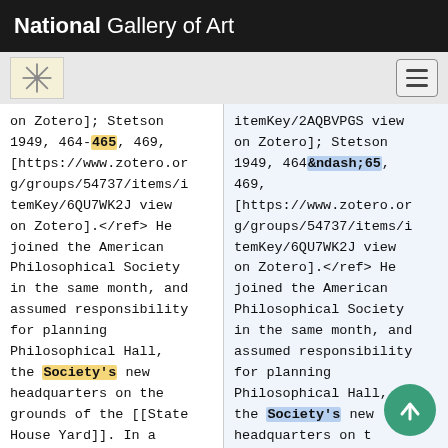National Gallery of Art
on Zotero]; Stetson 1949, 464-465, 469, [https://www.zotero.org/groups/54737/items/itemKey/6QU7WK2J view on Zotero].</ref> He joined the American Philosophical Society in the same month, and assumed responsibility for planning Philosophical Hall, the Society's new headquarters on the grounds of the [[State House Yard]]. In a letter of March 8,
itemKey/2AQBVPGS view on Zotero]; Stetson 1949, 464&ndash;65, 469, [https://www.zotero.org/groups/54737/items/itemKey/6QU7WK2J view on Zotero].</ref> He joined the American Philosophical Society in the same month, and assumed responsibility for planning Philosophical Hall, the Society's new headquarters on the grounds of the [[State House Yard]]. In a